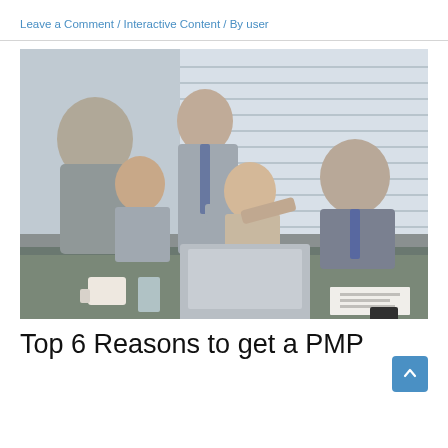Leave a Comment / Interactive Content / By user
[Figure (photo): Four business professionals in suits gathered around a laptop at a conference table in an office with venetian blinds in the background. One man is standing and leaning over, pointing at the laptop screen, while two women and another man are seated and looking at the screen.]
Top 6 Reasons to get a PMP